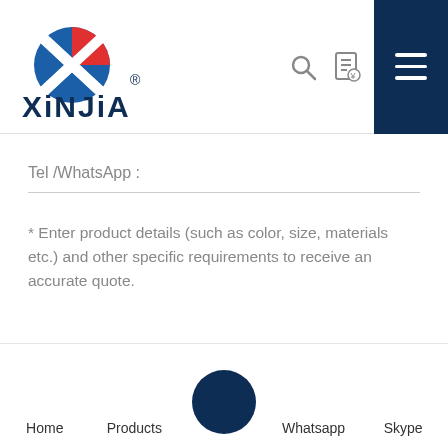[Figure (logo): Xinjia logo with blue and red X graphic mark and blue text 'XiNJiA' with registered trademark symbol]
Tel /WhatsApp :
* Enter product details (such as color, size, materials etc.) and other specific requirements to receive an accurate quote.
SUBMIT
Home   Products   [center circle]   Whatsapp   Skype